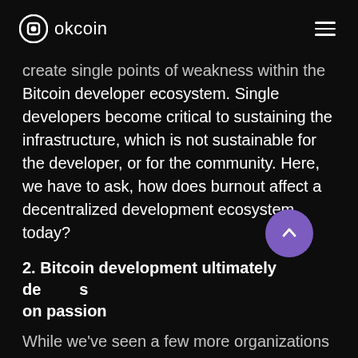okcoin
create single points of weakness within the Bitcoin developer ecosystem. Single developers become critical to sustaining the infrastructure, which is not sustainable for the developer, or for the community. Here, we have to ask, how does burnout affect a decentralized development ecosystem today?
2. Bitcoin development ultimately depends on passion
While we've seen a few more organizations